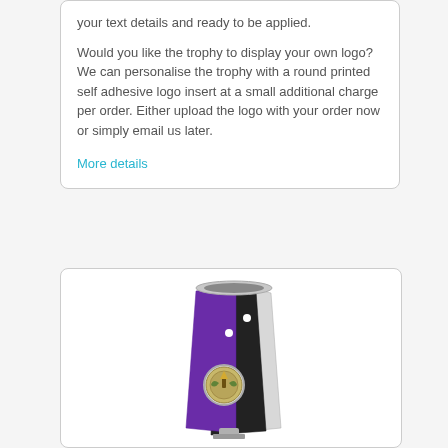your text details and ready to be applied.
Would you like the trophy to display your own logo? We can personalise the trophy with a round printed self adhesive logo insert at a small additional charge per order. Either upload the logo with your order now or simply email us later.
More details
[Figure (photo): A trophy cup with purple, black, and silver sections, featuring a circular medallion/badge on the front with a torch and laurel wreath design.]